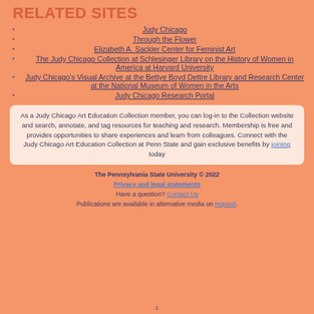RELATED Sites
Judy Chicago
Through the Flower
Elizabeth A. Sackler Center for Feminist Art
The Judy Chicago Collection at Schlesinger Library on the History of Women in America at Harvard University
Judy Chicago's Visual Archive at the Bettye Boyd Dettre Library and Research Center at the National Museum of Women in the Arts
Judy Chicago Research Portal
As a Judy Chicago Art Education Collection member, you can log-in to the Collection website and search, annotate, and tag resources for teaching and research. Membership is free and provides opportunities to share experiences and learn from colleagues. Connect with the Judy Chicago Art Education Collection at Penn State and gain exclusive benefits by joining today
The Pennsylvania State University © 2022
Privacy and legal statements
Have a question? Contact Us
Publications are available in alternative media on request.
1